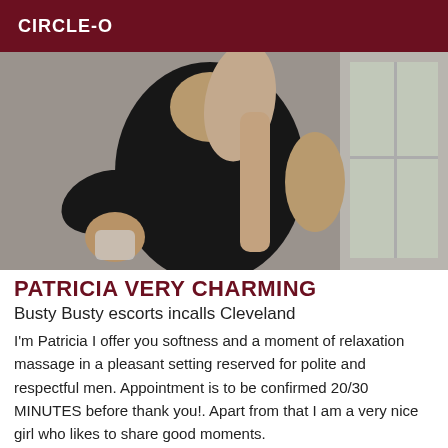CIRCLE-O
[Figure (photo): A woman with long blonde/pink hair wearing a black outfit, taking a selfie mirror photo]
PATRICIA VERY CHARMING
Busty Busty escorts incalls Cleveland
I'm Patricia I offer you softness and a moment of relaxation massage in a pleasant setting reserved for polite and respectful men. Appointment is to be confirmed 20/30 MINUTES before thank you!. Apart from that I am a very nice girl who likes to share good moments.